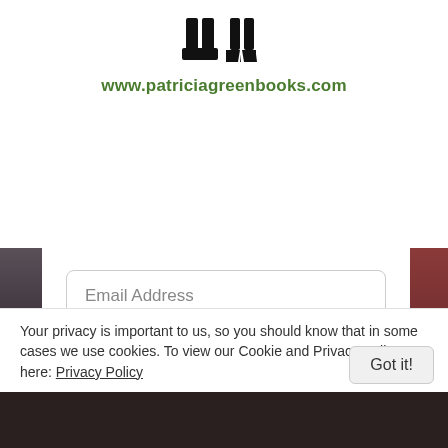[Figure (logo): Silhouette logo showing legs with boots and high heels (man and woman) above website URL]
www.patriciagreenbooks.com
Email Address
Subscribe
We respect your privacy. Unsubscribe at any time.
Your privacy is important to us, so you should know that in some cases we use cookies. To view our Cookie and Privacy Policy, go here: Privacy Policy
Got it!
ms